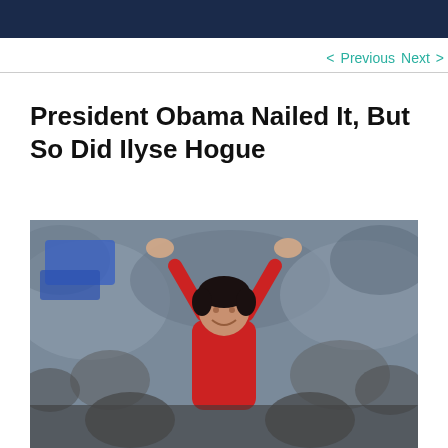< Previous   Next >
President Obama Nailed It, But So Did Ilyse Hogue
[Figure (photo): A woman in a red outfit with arms raised above her head, in front of a crowd at a large event or convention.]